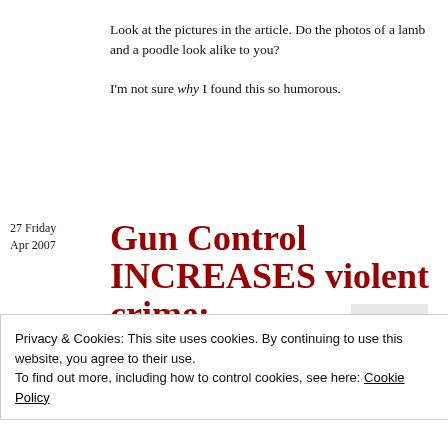Look at the pictures in the article. Do the photos of a lamb and a poodle look alike to you?
I'm not sure why I found this so humorous.
Gun Control INCREASES violent crime: State from
27 Friday Apr 2007
Privacy & Cookies: This site uses cookies. By continuing to use this website, you agree to their use.
To find out more, including how to control cookies, see here: Cookie Policy
Close and accept